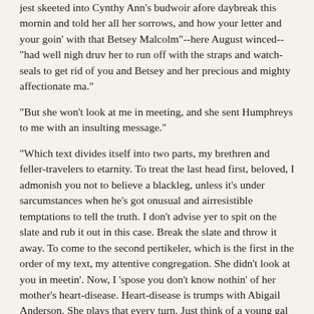jest skeeted into Cynthy Ann's budwoir afore daybreak this mornin and told her all her sorrows, and how your letter and your goin' with that Betsey Malcolm"--here August winced--"had well nigh druv her to run off with the straps and watch-seals to get rid of you and Betsey and her precious and mighty affectionate ma."
"But she won't look at me in meeting, and she sent Humphreys to me with an insulting message."
"Which text divides itself into two parts, my brethren and feller-travelers to etarnity. To treat the last head first, beloved, I admonish you not to believe a blackleg, unless it's under sarcumstances when he's got onusual and airresistible temptations to tell the truth. I don't advise yer to spit on the slate and rub it out in this case. Break the slate and throw it away. To come to the second pertikeler, which is the first in the order of my text, my attentive congregation. She didn't look at you in meetin'. Now, I 'spose you don't know nothin' of her mother's heart-disease. Heart-disease is trumps with Abigail Anderson. She plays that every turn. Just think of a young gal who thinks that ef she looks at her beau when her mother's by, she might kill her invalooable parient of heart-disease. Fer my part, I don't take no stock in Mrs. Abby Anderson's dyin' of heart-disease, no ways. Might as well talk about a whale dyin' of footrot."
"Well, Jonas, what counsel do you give our young friend? Your sagacity is to be depended on."
"Why, I advise him to speak face to face with the angel of his life. Let him climb into my room to-night. Leave meetin' jest afore the benediction--he kin do without that wunst--and go double-quick acrost the fields, and git safe into my stoodio. Ferther pertikelers